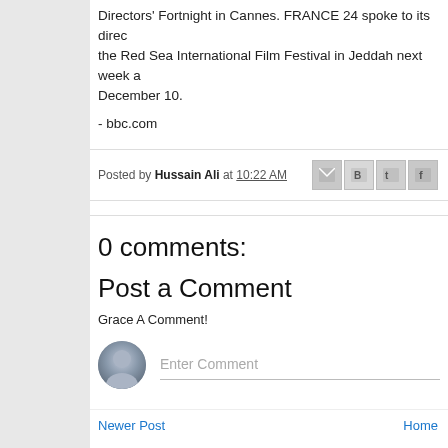Directors' Fortnight in Cannes. FRANCE 24 spoke to its director the Red Sea International Film Festival in Jeddah next week a December 10.
- bbc.com
Posted by Hussain Ali at 10:22 AM
0 comments:
Post a Comment
Grace A Comment!
Enter Comment
Newer Post    Home
Subscribe to: Post Comments (Atom)